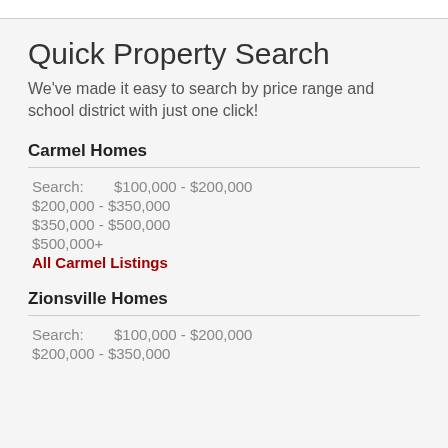Quick Property Search
We've made it easy to search by price range and school district with just one click!
Carmel Homes
Search: $100,000 - $200,000
$200,000 - $350,000
$350,000 - $500,000
$500,000+
All Carmel Listings
Zionsville Homes
Search: $100,000 - $200,000
$200,000 - $350,000